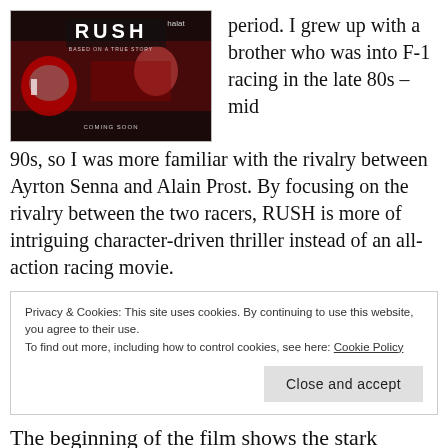[Figure (photo): Movie poster/promotional image for the film RUSH, showing racing scenes and the title text 'RUSH' with 'BASED ON A TRUE STORY' and 'COMING SOON' text.]
period. I grew up with a brother who was into F-1 racing in the late 80s – mid 90s, so I was more familiar with the rivalry between Ayrton Senna and Alain Prost. By focusing on the rivalry between the two racers, RUSH is more of intriguing character-driven thriller instead of an all-action racing movie.
Privacy & Cookies: This site uses cookies. By continuing to use this website, you agree to their use.
To find out more, including how to control cookies, see here: Cookie Policy
The beginning of the film shows the stark